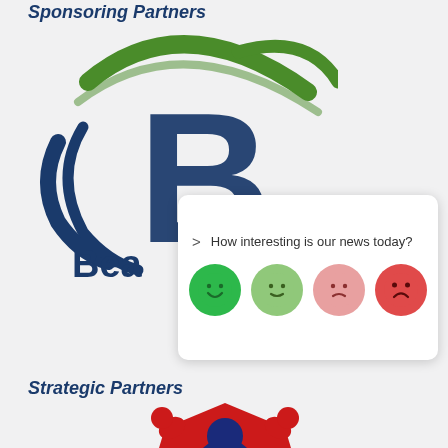Sponsoring Partners
[Figure (logo): Beacon logo with blue B letter and green swoosh arc, text 'Bea...' partially visible at bottom left]
[Figure (infographic): Feedback widget overlay: 'How interesting is our news today?' with four emoji faces ranging from very happy (dark green) to sad (dark red)]
Strategic Partners
[Figure (logo): Strategic partner logo: red and blue superhero/boxer figure with arms raised, laurel wreath at bottom]